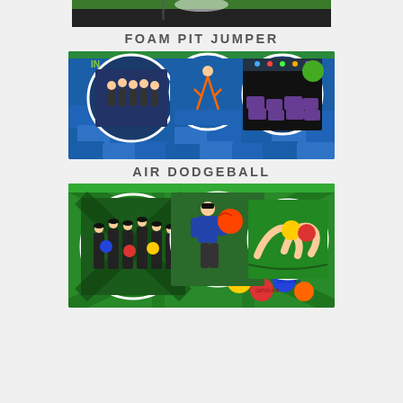[Figure (photo): Partial top photo strip of trampoline park outdoor area]
FOAM PIT JUMPER
[Figure (photo): Collage of foam pit jumper activity photos: group of people standing near foam pit, person jumping into foam pit, large foam pit filled with blue foam blocks, and circular inset photos overlaid on background]
AIR DODGEBALL
[Figure (photo): Collage of air dodgeball activity photos: group posing with dodgeballs, person throwing dodgeball, colorful dodgeballs on trampoline floor, circular inset photos overlaid on background]